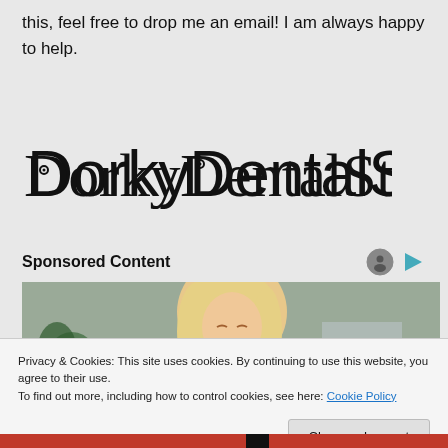this, feel free to drop me an email! I am always happy to help.
[Figure (logo): DorkyDentalStudent logo in stylized hand-drawn font]
Sponsored Content
[Figure (photo): Blonde woman in yellow sweater looking down, with plants in background - sponsored content image]
Privacy & Cookies: This site uses cookies. By continuing to use this website, you agree to their use.
To find out more, including how to control cookies, see here: Cookie Policy
Close and accept